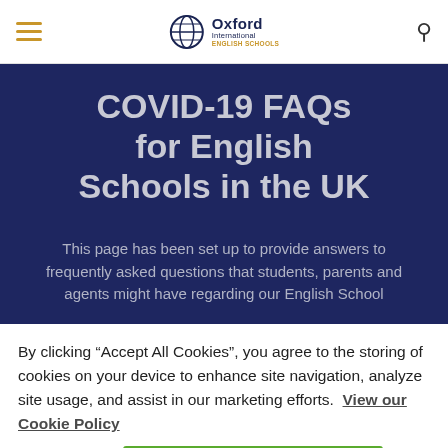Oxford International English Schools — navigation header with hamburger menu and search icon
COVID-19 FAQs for English Schools in the UK
This page has been set up to provide answers to frequently asked questions that students, parents and agents might have regarding our English School
By clicking “Accept All Cookies”, you agree to the storing of cookies on your device to enhance site navigation, analyze site usage, and assist in our marketing efforts.  View our Cookie Policy
CUSTOMIZE   ACCEPT ALL COOKIES